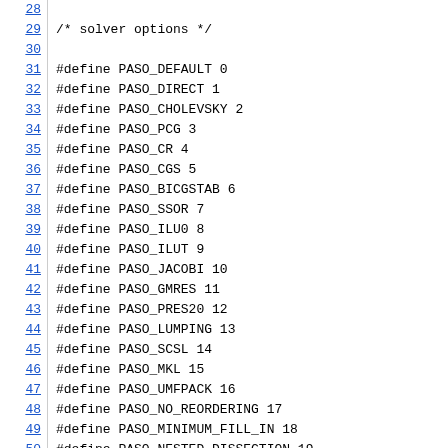28
29 /* solver options */
30
31 #define PASO_DEFAULT 0
32 #define PASO_DIRECT 1
33 #define PASO_CHOLEVSKY 2
34 #define PASO_PCG 3
35 #define PASO_CR 4
36 #define PASO_CGS 5
37 #define PASO_BICGSTAB 6
38 #define PASO_SSOR 7
39 #define PASO_ILU0 8
40 #define PASO_ILUT 9
41 #define PASO_JACOBI 10
42 #define PASO_GMRES 11
43 #define PASO_PRES20 12
44 #define PASO_LUMPING 13
45 #define PASO_SCSL 14
46 #define PASO_MKL 15
47 #define PASO_UMFPACK 16
48 #define PASO_NO_REORDERING 17
49 #define PASO_MINIMUM_FILL_IN 18
50 #define PASO_NESTED_DISSECTION 19